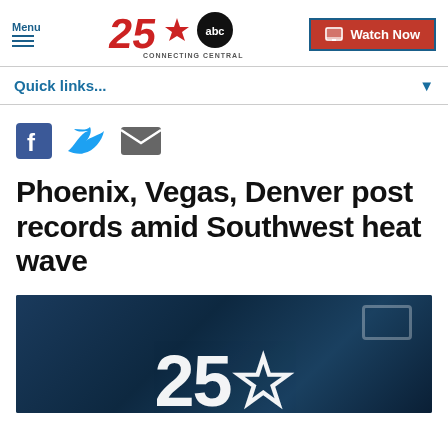Menu | 25abc CONNECTING CENTRAL TEXAS | Watch Now
Quick links...
[Figure (screenshot): Social share icons: Facebook, Twitter, Email]
Phoenix, Vegas, Denver post records amid Southwest heat wave
[Figure (photo): Dark blue background with large white '25' logo text overlay, camera equipment visible in background]